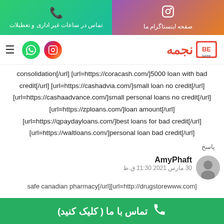تماس در ساعات غیر اداری و تعطیلات | صفحه اینستاگرام ما
[Figure (screenshot): Navigation bar with hamburger menu, WhatsApp and Instagram circle buttons, and logo]
consolidation[/url] [url=https://coracash.com/]5000 loan with bad credit[/url] [url=https://cashadvia.com/]small loan no credit[/url] [url=https://cashaadvance.com/]small personal loans no credit[/url] [url=https://zploans.com/]loan amount[/url] [url=https://qpaydayloans.com/]best loans for bad credit[/url] [url=https://waltloans.com/]personal loan bad credit[/url]
پاسخ
AmyPhaft
30 مارس 2021 11:30 ق.ظ
safe canadian pharmacy[/url][url=http://drugstorewww.com]
تماس با ما ( کلیک کنید)